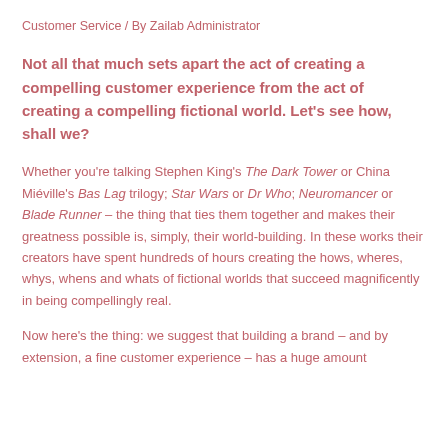Customer Service / By Zailab Administrator
Not all that much sets apart the act of creating a compelling customer experience from the act of creating a compelling fictional world. Let's see how, shall we?
Whether you're talking Stephen King's The Dark Tower or China Miéville's Bas Lag trilogy; Star Wars or Dr Who; Neuromancer or Blade Runner – the thing that ties them together and makes their greatness possible is, simply, their world-building. In these works their creators have spent hundreds of hours creating the hows, wheres, whys, whens and whats of fictional worlds that succeed magnificently in being compellingly real.
Now here's the thing: we suggest that building a brand – and by extension, a fine customer experience – has a huge amount